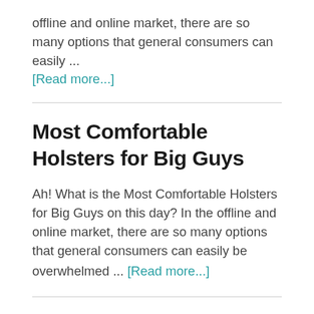offline and online market, there are so many options that general consumers can easily ...
[Read more...]
Most Comfortable Holsters for Big Guys
Ah! What is the Most Comfortable Holsters for Big Guys on this day? In the offline and online market, there are so many options that general consumers can easily be overwhelmed ... [Read more...]